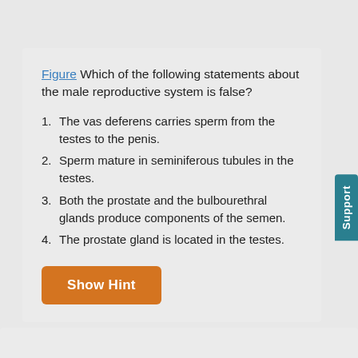Figure Which of the following statements about the male reproductive system is false?
1. The vas deferens carries sperm from the testes to the penis.
2. Sperm mature in seminiferous tubules in the testes.
3. Both the prostate and the bulbourethral glands produce components of the semen.
4. The prostate gland is located in the testes.
Show Hint